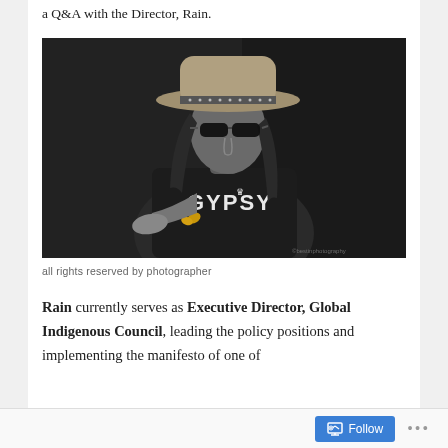a Q&A with the Director, Rain.
[Figure (photo): Black and white photograph of a person wearing a wide-brimmed hat with a decorative band, sunglasses, and a black t-shirt that reads 'GYPSY'. The person has long hair and is looking downward with one hand extended as if holding something small (a butterfly). There is a watermark in the bottom right corner.]
all rights reserved by photographer
Rain currently serves as Executive Director, Global Indigenous Council, leading the policy positions and implementing the manifesto of one of